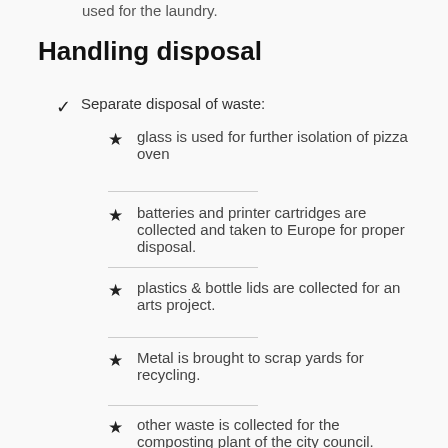used for the laundry.
Handling disposal
Separate disposal of waste:
glass is used for further isolation of pizza oven
batteries and printer cartridges are collected and taken to Europe for proper disposal.
plastics & bottle lids are collected for an arts project.
Metal is brought to scrap yards for recycling.
other waste is collected for the composting plant of the city council.